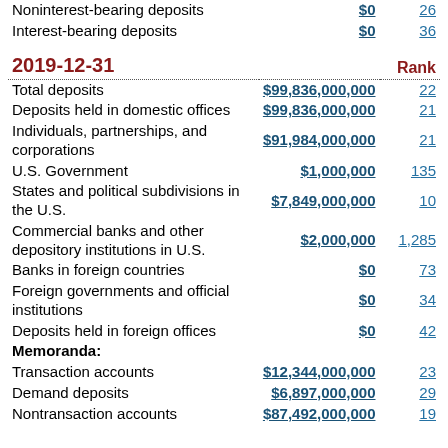|  | Amount | Rank |
| --- | --- | --- |
| Noninterest-bearing deposits | $0 | 26 |
| Interest-bearing deposits | $0 | 36 |
| 2019-12-31 |  | Rank |
| Total deposits | $99,836,000,000 | 22 |
| Deposits held in domestic offices | $99,836,000,000 | 21 |
|   Individuals, partnerships, and corporations | $91,984,000,000 | 21 |
|   U.S. Government | $1,000,000 | 135 |
|   States and political subdivisions in the U.S. | $7,849,000,000 | 10 |
|   Commercial banks and other depository institutions in U.S. | $2,000,000 | 1,285 |
|   Banks in foreign countries | $0 | 73 |
|   Foreign governments and official institutions | $0 | 34 |
| Deposits held in foreign offices | $0 | 42 |
| Memoranda: |  |  |
|   Transaction accounts | $12,344,000,000 | 23 |
|     Demand deposits | $6,897,000,000 | 29 |
|   Nontransaction accounts | $87,492,000,000 | 19 |